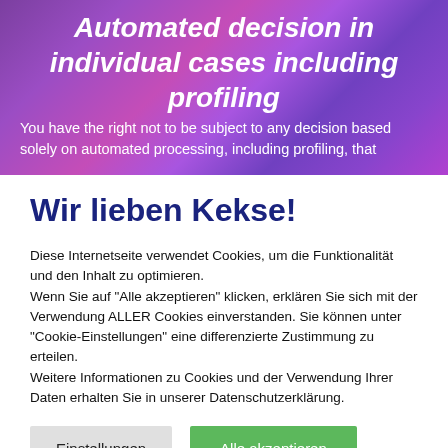Automated decision in individual cases including profiling
You have the right not to be subject to any decision based solely on automated processing, including profiling, that
Wir lieben Kekse!
Diese Internetseite verwendet Cookies, um die Funktionalität und den Inhalt zu optimieren.
Wenn Sie auf "Alle akzeptieren" klicken, erklären Sie sich mit der Verwendung ALLER Cookies einverstanden. Sie können unter "Cookie-Einstellungen" eine differenzierte Zustimmung zu erteilen.
Weitere Informationen zu Cookies und der Verwendung Ihrer Daten erhalten Sie in unserer Datenschutzerklärung.
Einstellungen
Alle akzeptieren